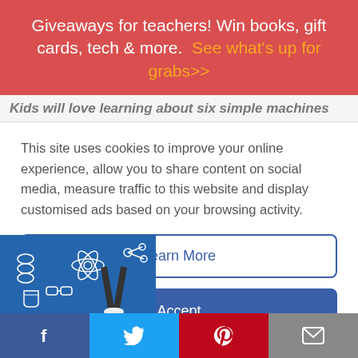Giveaways for teachers! Win books, gift cards, tech & more. See what's up for grabs>>
Kids will love learning about six simple machines
This site uses cookies to improve your online experience, allow you to share content on social media, measure traffic to this website and display customised ads based on your browsing activity.
Learn More
Accept
[Figure (photo): Child with science-themed drawings on blue background]
Facebook | Twitter | Pinterest | Email share buttons